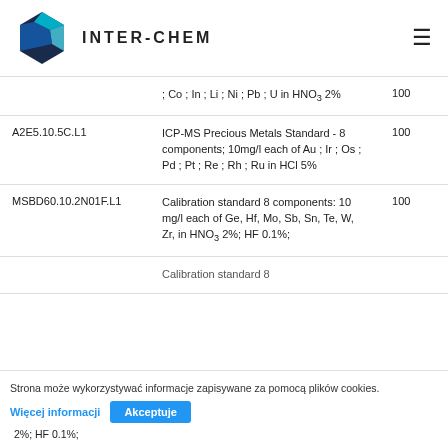INTER-CHEM
| Code | Description | Qty |
| --- | --- | --- |
|  | ; Co ; In ; Li ; Ni ; Pb ; U in HNO3 2% | 100 |
| A2E5.10.5C.L1 | ICP-MS Precious Metals Standard - 8 components; 10mg/l each of Au ; Ir ; Os ; Pd ; Pt ; Re ; Rh ; Ru in HCl 5% | 100 |
| MSBD60.10.2N01F.L1 | Calibration standard 8 components: 10 mg/l each of Ge, Hf, Mo, Sb, Sn, Te, W, Zr, in HNO3 2%; HF 0.1%; | 100 |
|  | Calibration standard 8 ... 2%; HF 0.1%; |  |
Strona może wykorzystywać informacje zapisywane za pomocą plików cookies.
Więcej informacji | Akceptuje
2%; HF 0.1%;